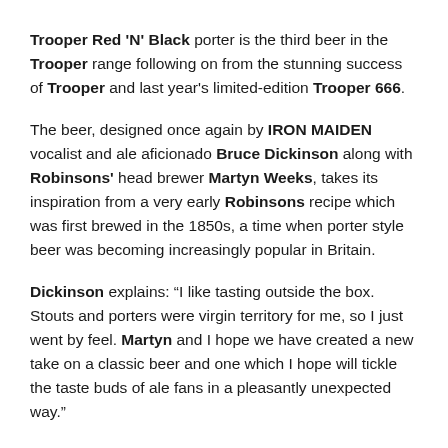Trooper Red 'N' Black porter is the third beer in the Trooper range following on from the stunning success of Trooper and last year's limited-edition Trooper 666.
The beer, designed once again by IRON MAIDEN vocalist and ale aficionado Bruce Dickinson along with Robinsons' head brewer Martyn Weeks, takes its inspiration from a very early Robinsons recipe which was first brewed in the 1850s, a time when porter style beer was becoming increasingly popular in Britain.
Dickinson explains: “I like tasting outside the box. Stouts and porters were virgin territory for me, so I just went by feel. Martyn and I hope we have created a new take on a classic beer and one which I hope will tickle the taste buds of ale fans in a pleasantly unexpected way.”